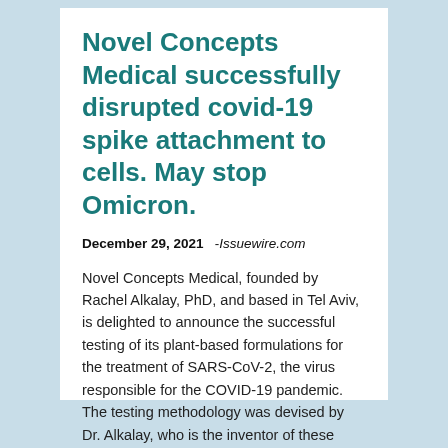Novel Concepts Medical successfully disrupted covid-19 spike attachment to cells. May stop Omicron.
December 29, 2021   -Issuewire.com
Novel Concepts Medical, founded by Rachel Alkalay, PhD, and based in Tel Aviv, is delighted to announce the successful testing of its plant-based formulations for the treatment of SARS-CoV-2, the virus responsible for the COVID-19 pandemic. The testing methodology was devised by Dr. Alkalay, who is the inventor of these formulations…
Read More